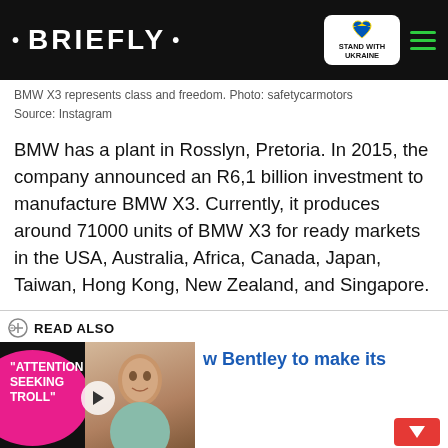• BRIEFLY •
BMW X3 represents class and freedom. Photo: safetycarmotors
Source: Instagram
BMW has a plant in Rosslyn, Pretoria. In 2015, the company announced an R6,1 billion investment to manufacture BMW X3. Currently, it produces around 71000 units of BMW X3 for ready markets in the USA, Australia, Africa, Canada, Japan, Taiwan, Hong Kong, New Zealand, and Singapore.
READ ALSO
[Figure (screenshot): Video thumbnail with woman's face, pink circle with text 'ATTENTION SEEKING TROLL' and play button]
w Bentley to make its
[Figure (photo): Advertisement: Support Ukrainian Army - Donate to defend Ukraine and democracy, with Ukrainian flag colors]